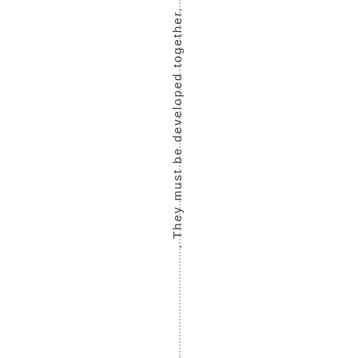. They must be developed together.